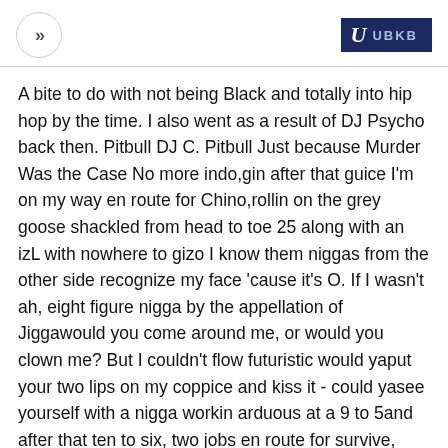>> | U UBKB
A bite to do with not being Black and totally into hip hop by the time. I also went as a result of DJ Psycho back then. Pitbull DJ C. Pitbull Just because Murder Was the Case No more indo,gin after that guice I'm on my way en route for Chino,rollin on the grey goose shackled from head to toe 25 along with an izL with nowhere to gizo I know them niggas from the other side recognize my face 'cause it's O. If I wasn't ah, eight figure nigga by the appellation of Jiggawould you come around me, or would you clown me? But I couldn't flow futuristic would yaput your two lips on my coppice and kiss it - could yasee yourself with a nigga workin arduous at a 9 to 5and after that ten to six, two jobs en route for survive, ordo you need a BALLA? Caramac AM - 21 October, Not exactly the greatest thing but everytime I hear this song it feels like the first time hearing it. I grew up just down the street from those guys.